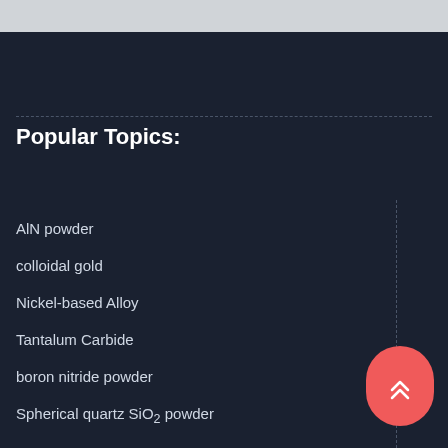[Figure (other): Gray banner at the top of the page]
Popular Topics:
AlN powder
colloidal gold
Nickel-based Alloy
Tantalum Carbide
boron nitride powder
Spherical quartz SiO2 powder